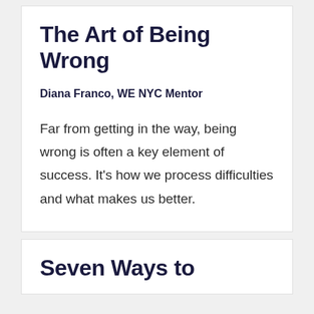The Art of Being Wrong
Diana Franco,  WE NYC Mentor
Far from getting in the way, being wrong is often a key element of success. It's how we process difficulties and what makes us better.
Seven Ways to